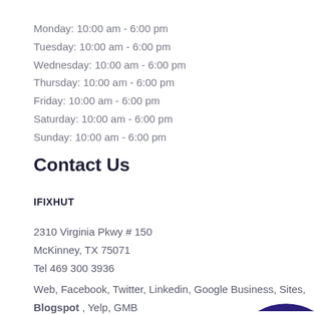Monday: 10:00 am - 6:00 pm
Tuesday: 10:00 am - 6:00 pm
Wednesday: 10:00 am - 6:00 pm
Thursday: 10:00 am - 6:00 pm
Friday: 10:00 am - 6:00 pm
Saturday: 10:00 am - 6:00 pm
Sunday: 10:00 am - 6:00 pm
Contact Us
IFIXHUT
2310 Virginia Pkwy # 150
McKinney, TX 75071
Tel 469 300 3936
Web, Facebook, Twitter, Linkedin, Google Business, Sites, Blogspot , Yelp, GMB